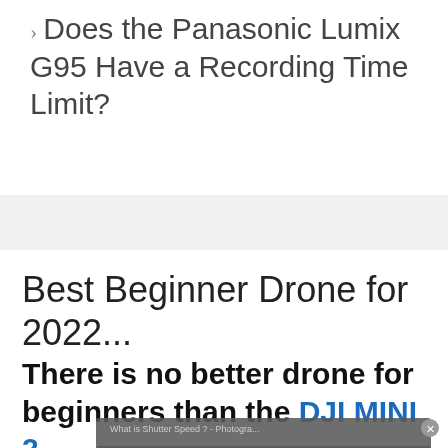> Does the Panasonic Lumix G95 Have a Recording Time Limit?
Best Beginner Drone for 2022...
There is no better drone for beginners than the DJI MINI 2.
[Figure (screenshot): Overlay showing a video popup with text 'What is Shutter Speed? - Photogra...' and 'No compatible source was found for this media.' with a red banner reading 'Check DJI Mini 2 Availability (Amazon)' and a video thumbnail for 'What is Shutter Speed?' from Photography Pursuits.]